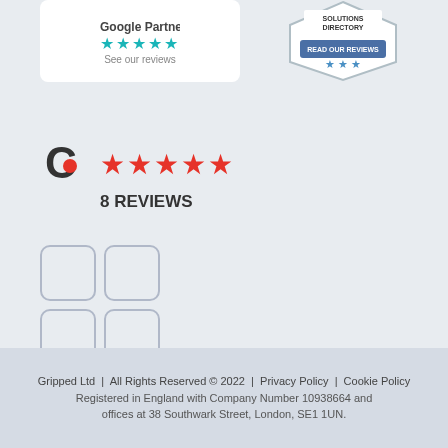[Figure (logo): Google Partner badge with 5 teal stars and 'See our reviews' text on white card]
[Figure (logo): Solutions Directory badge with 'Read Our Reviews' and star rating]
[Figure (logo): Capterra logo (C with red dot) with 5 red stars and '8 REVIEWS' text]
[Figure (other): 2x2 grid of rounded square app/social media icon placeholders]
Gripped Ltd | All Rights Reserved © 2022 | Privacy Policy | Cookie Policy
Registered in England with Company Number 10938664 and offices at 38 Southwark Street, London, SE1 1UN.